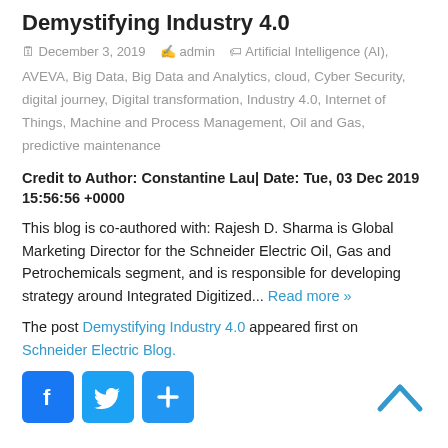Demystifying Industry 4.0
December 3, 2019   admin   Artificial Intelligence (AI), AVEVA, Big Data, Big Data and Analytics, cloud, Cyber Security, digital journey, Digital transformation, Industry 4.0, Internet of Things, Machine and Process Management, Oil and Gas, predictive maintenance
Credit to Author: Constantine Lau| Date: Tue, 03 Dec 2019 15:56:56 +0000
This blog is co-authored with: Rajesh D. Sharma is Global Marketing Director for the Schneider Electric Oil, Gas and Petrochemicals segment, and is responsible for developing strategy around Integrated Digitized... Read more »
The post Demystifying Industry 4.0 appeared first on Schneider Electric Blog.
[Figure (other): Social sharing buttons: Facebook, Twitter, and a plus/share button, with an up-arrow scroll-to-top on the right]